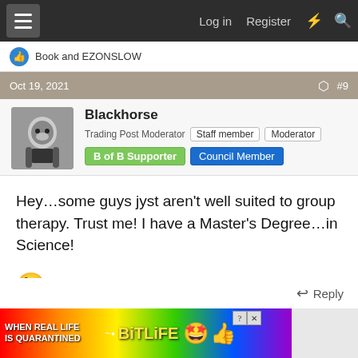Log in  Register
Book and EZONSLOW
Oct 19, 2021  #9
Blackhorse
Trading Post Moderator  Staff member  Moderator
B of B Supporter  Council Member
Hey…some guys jyst aren't well suited to group therapy. Trust me! I have a Master's Degree…in Science!
😉
Reply
[Figure (screenshot): BitLife advertisement banner with rainbow gradient background, white bold text reading WHEN REAL LIFE IS QUARANTINED, and BitLife logo with emoji characters]